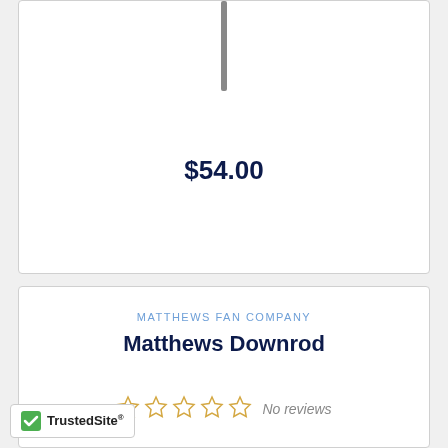[Figure (photo): A ceiling fan downrod product image — a narrow vertical metal rod on a white background]
$54.00
MATTHEWS FAN COMPANY
Matthews Downrod
No reviews
[Figure (logo): TrustedSite badge with green checkmark]